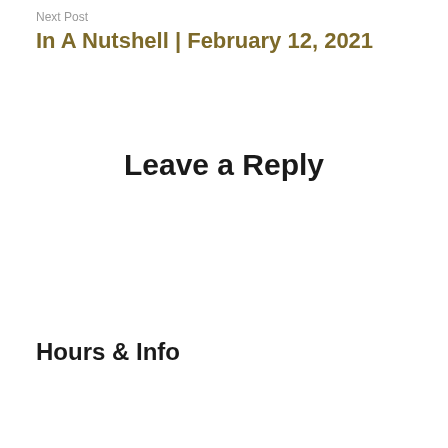Next Post
In A Nutshell | February 12, 2021
Leave a Reply
Hours & Info